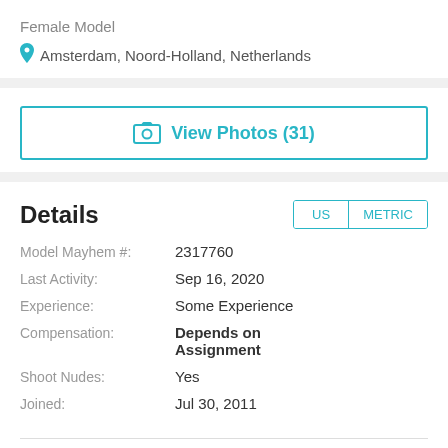Female Model
Amsterdam, Noord-Holland, Netherlands
View Photos (31)
Details
| Field | Value |
| --- | --- |
| Model Mayhem #: | 2317760 |
| Last Activity: | Sep 16, 2020 |
| Experience: | Some Experience |
| Compensation: | Depends on Assignment |
| Shoot Nudes: | Yes |
| Joined: | Jul 30, 2011 |